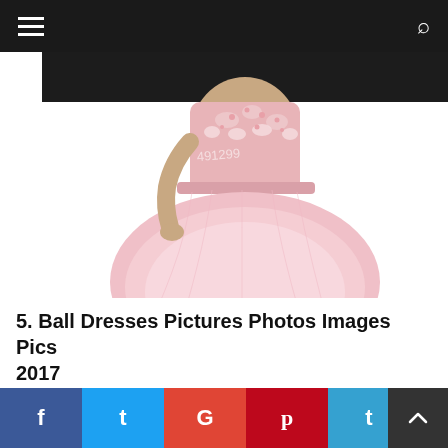Navigation bar with hamburger menu and search icon
[Figure (photo): A woman wearing a short pink tulle ball gown dress with lace and applique bodice. The skirt is full and layered with ruffled hem. A watermark reading '491299' is visible on the dress. The background is white/light. Only the torso and legs of the model are visible.]
5. Ball Dresses Pictures Photos Images Pics 2017
Social share buttons: f (Facebook), t (Twitter), G (Google+), p (Pinterest), t (Tumblr). Back to top arrow button.